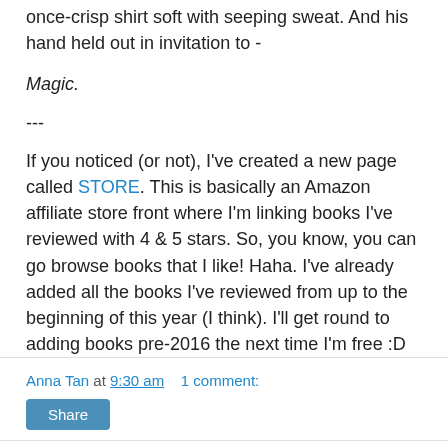once-crisp shirt soft with seeping sweat. And his hand held out in invitation to -
Magic.
---
If you noticed (or not), I've created a new page called STORE. This is basically an Amazon affiliate store front where I'm linking books I've reviewed with 4 & 5 stars. So, you know, you can go browse books that I like! Haha. I've already added all the books I've reviewed from up to the beginning of this year (I think). I'll get round to adding books pre-2016 the next time I'm free :D
Anna Tan at 9:30 am   1 comment:
Share
Wednesday, 26 October 2016
#bookreview: Regenesis: New